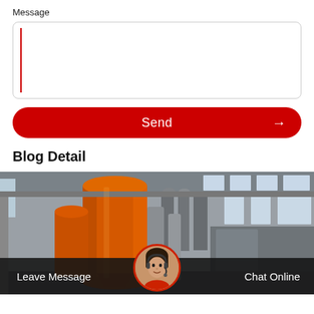Message
[Figure (screenshot): Message input text box with red cursor on left side, rounded border]
Send →
Blog Detail
[Figure (photo): Industrial facility interior showing large orange industrial equipment (possibly a cyclone separator or industrial vessel) and grey metal ducts/pipes in a warehouse-like building with windows]
Leave Message
Chat Online